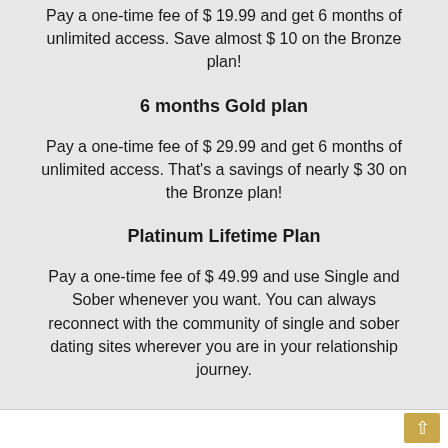Pay a one-time fee of $ 19.99 and get 6 months of unlimited access. Save almost $ 10 on the Bronze plan!
6 months Gold plan
Pay a one-time fee of $ 29.99 and get 6 months of unlimited access. That's a savings of nearly $ 30 on the Bronze plan!
Platinum Lifetime Plan
Pay a one-time fee of $ 49.99 and use Single and Sober whenever you want. You can always reconnect with the community of single and sober dating sites wherever you are in your relationship journey.